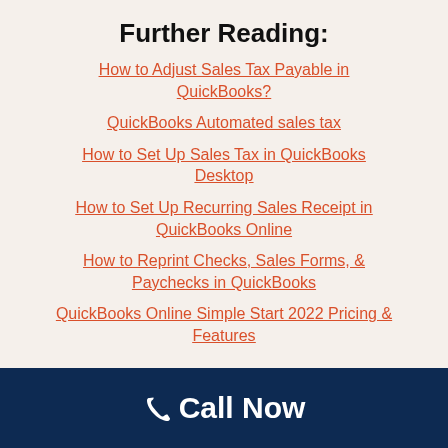Further Reading:
How to Adjust Sales Tax Payable in QuickBooks?
QuickBooks Automated sales tax
How to Set Up Sales Tax in QuickBooks Desktop
How to Set Up Recurring Sales Receipt in QuickBooks Online
How to Reprint Checks, Sales Forms, & Paychecks in QuickBooks
QuickBooks Online Simple Start 2022 Pricing & Features
📞 Call Now